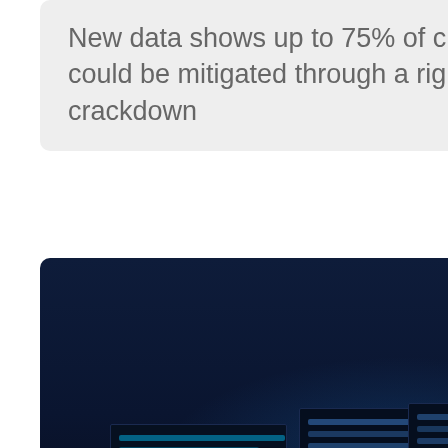New data shows up to 75% of critical vulnerabilities could be mitigated through a rights and privileges crackdown
[Figure (photo): Hooded hacker silhouette sitting in front of multiple computer monitors displaying code and data, in a dark blue-lit room]
CYBERSECURITY
Claroty research unveils new attack that targets PLCs
Claroty has released research detailing a new type of cyber-attack,